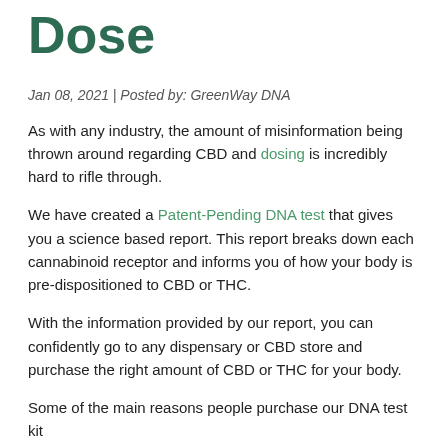Dose
Jan 08, 2021 | Posted by: GreenWay DNA
As with any industry, the amount of misinformation being thrown around regarding CBD and dosing is incredibly hard to rifle through.
We have created a Patent-Pending DNA test that gives you a science based report. This report breaks down each cannabinoid receptor and informs you of how your body is pre-dispositioned to CBD or THC.
With the information provided by our report, you can confidently go to any dispensary or CBD store and purchase the right amount of CBD or THC for your body.
Some of the main reasons people purchase our DNA test kit